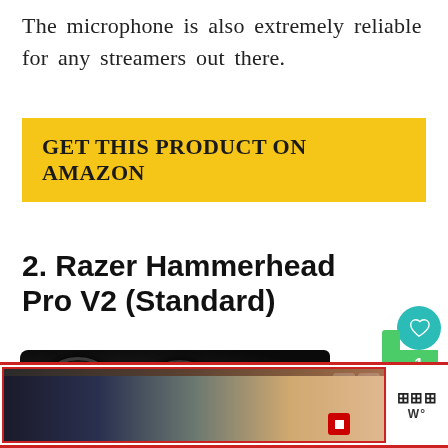The microphone is also extremely reliable for any streamers out there.
GET THIS PRODUCT ON AMAZON
2. Razer Hammerhead Pro V2 (Standard)
[Figure (photo): Photo of Razer Hammerhead Pro V2 headphones, black over-ear headphones shown from the side]
[Figure (other): Advertisement banner with red border at bottom of page, showing video content with play controls]